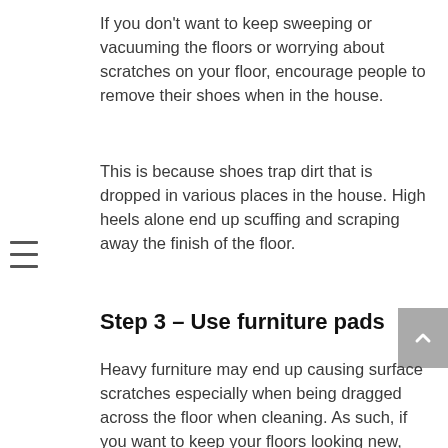If you don't want to keep sweeping or vacuuming the floors or worrying about scratches on your floor, encourage people to remove their shoes when in the house.
This is because shoes trap dirt that is dropped in various places in the house. High heels alone end up scuffing and scraping away the finish of the floor.
Step 3 – Use furniture pads
Heavy furniture may end up causing surface scratches especially when being dragged across the floor when cleaning. As such, if you want to keep your floors looking new, ensure that you invest in furniture pads.